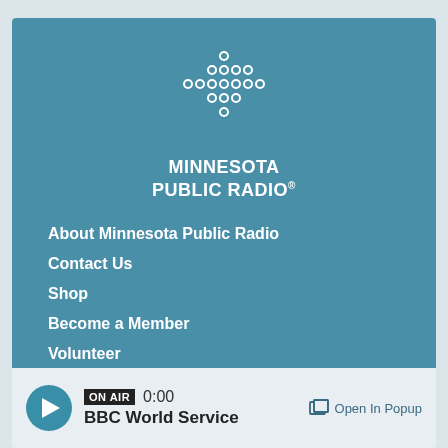[Figure (logo): Minnesota Public Radio logo — dots arranged in a cross/snowflake pattern above the text MINNESOTA PUBLIC RADIO®]
About Minnesota Public Radio
Contact Us
Shop
Become a Member
Volunteer
Fundraising Credentials
ON AIR  0:00  BBC World Service  Open In Popup